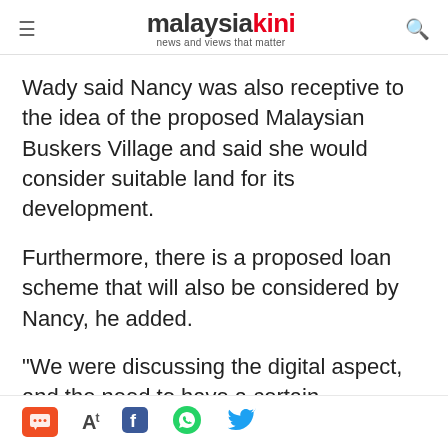malaysiakini — news and views that matter
Wady said Nancy was also receptive to the idea of the proposed Malaysian Buskers Village and said she would consider suitable land for its development.
Furthermore, there is a proposed loan scheme that will also be considered by Nancy, he added.
"We were discussing the digital aspect, and the need to have a certain performing standard so we have more quality performances amidst the recession.
Social sharing and action icons: comment, font size, Facebook, WhatsApp, Twitter